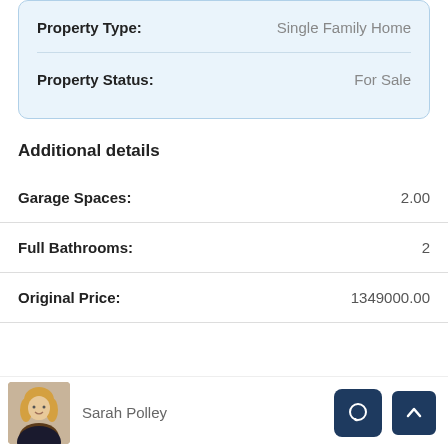| Property Type: | Single Family Home |
| --- | --- |
| Property Status: | For Sale |
Additional details
| Field | Value |
| --- | --- |
| Garage Spaces: | 2.00 |
| Full Bathrooms: | 2 |
| Original Price: | 1349000.00 |
Sarah Polley